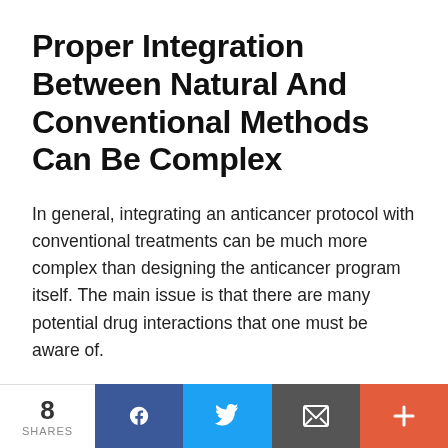Proper Integration Between Natural And Conventional Methods Can Be Complex
In general, integrating an anticancer protocol with conventional treatments can be much more complex than designing the anticancer program itself. The main issue is that there are many potential drug interactions that one must be aware of.
For example, if you combine the wrong supplements with a certain oncology medication, you can actually cause the medication levels in your body to become
8 SHARES  [Facebook] [Twitter] [Email] [More]